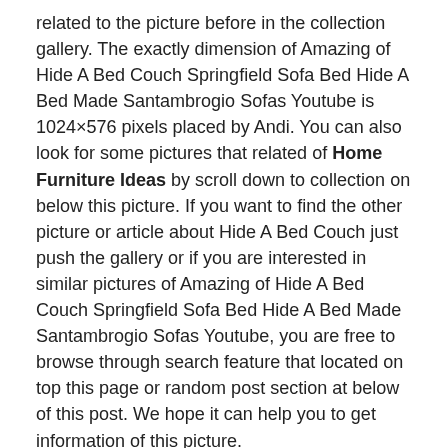related to the picture before in the collection gallery. The exactly dimension of Amazing of Hide A Bed Couch Springfield Sofa Bed Hide A Bed Made Santambrogio Sofas Youtube is 1024×576 pixels placed by Andi. You can also look for some pictures that related of Home Furniture Ideas by scroll down to collection on below this picture. If you want to find the other picture or article about Hide A Bed Couch just push the gallery or if you are interested in similar pictures of Amazing of Hide A Bed Couch Springfield Sofa Bed Hide A Bed Made Santambrogio Sofas Youtube, you are free to browse through search feature that located on top this page or random post section at below of this post. We hope it can help you to get information of this picture.
This image of Amazing of Hide A Bed Couch Springfield Sofa Bed Hide A Bed Made Santambrogio Sofas Youtube is a part of hide a bed couch canada, hide a bed couch victoria bc, hide a bed leather couch, and just one of our Picture Collection we have to home furniture ideas in this site. If you're inspired, amazed and charmed by this Amazing of Hide A Bed Couch Springfield Sofa Bed Hide A Bed Made Santambrogio Sofas Youtube, you can download it by right-clicking it and click save image as. We hope that, by posting this Amazing of Hide A Bed Couch Springfield Sofa Bed Hide A Bed Made